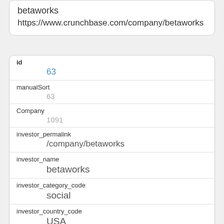betaworks
https://www.crunchbase.com/company/betaworks
| Field | Value |
| --- | --- |
| id | 63 |
| manualSort | 63 |
| Company | 1091 |
| investor_permalink | /company/betaworks |
| investor_name | betaworks |
| investor_category_code | social |
| investor_country_code | USA |
| investor_state_code | NY |
| investor_region | New York |